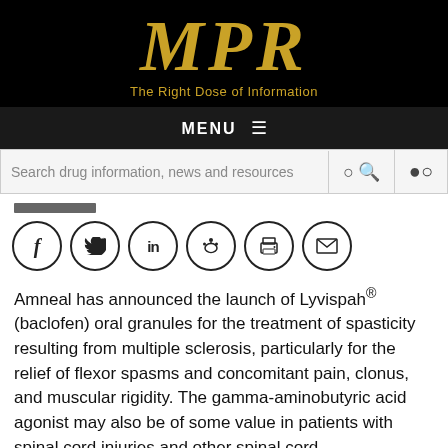MPR — The Right Dose of Information
[Figure (logo): MPR logo with gold serif italic letters 'MPR' on black background and tagline 'The Right Dose of Information']
MENU
Search drug information, news and resources
[Figure (infographic): Social sharing icons: Facebook, Twitter, LinkedIn, Reddit, Print, Email — each in a circle outline]
Amneal has announced the launch of Lyvispah® (baclofen) oral granules for the treatment of spasticity resulting from multiple sclerosis, particularly for the relief of flexor spasms and concomitant pain, clonus, and muscular rigidity. The gamma-aminobutyric acid agonist may also be of some value in patients with spinal cord injuries and other spinal cord